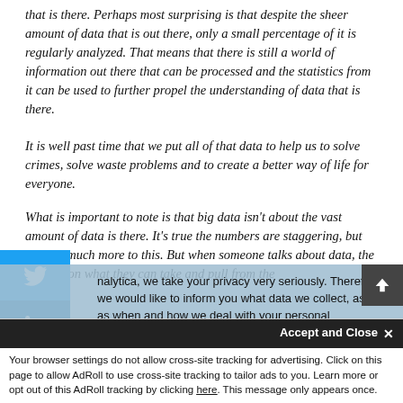that is there. Perhaps most surprising is that despite the sheer amount of data that is out there, only a small percentage of it is regularly analyzed. That means that there is still a world of information out there that can be processed and the statistics from it can be used to further propel the understanding of data that is there.
It is well past time that we put all of that data to help us to solve crimes, solve waste problems and to create a better way of life for everyone.
What is important to note is that big data isn't about the vast amount of data is there. It's true the numbers are staggering, but there is much more to this. But when someone talks about data, the focus is on what they can take and pull from the...
nalytica, we take your privacy very seriously. Therefore we would like to inform you what data we collect, as well as when and how we deal with your personal information. To learn more, read our Privacy and Cookie Policy. If you have any questions, don't hesitate to contact us.
Accept and Close ✕
Your browser settings do not allow cross-site tracking for advertising. Click on this page to allow AdRoll to use cross-site tracking to tailor ads to you. Learn more or opt out of this AdRoll tracking by clicking here. This message only appears once.